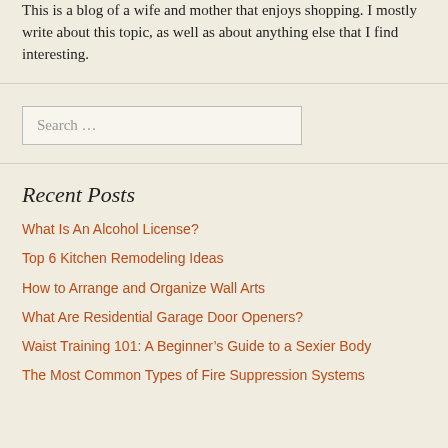This is a blog of a wife and mother that enjoys shopping. I mostly write about this topic, as well as about anything else that I find interesting.
Search …
Recent Posts
What Is An Alcohol License?
Top 6 Kitchen Remodeling Ideas
How to Arrange and Organize Wall Arts
What Are Residential Garage Door Openers?
Waist Training 101: A Beginner's Guide to a Sexier Body
The Most Common Types of Fire Suppression Systems